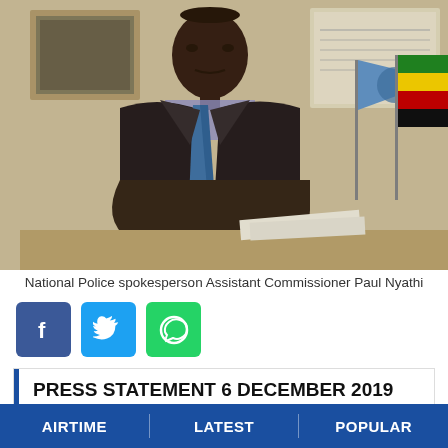[Figure (photo): National Police spokesperson Assistant Commissioner Paul Nyathi seated at a desk in a dark suit and tie, with flags and a framed portrait visible in the background.]
National Police spokesperson Assistant Commissioner Paul Nyathi
[Figure (infographic): Social media sharing buttons: Facebook (blue), Twitter (light blue), WhatsApp (green)]
PRESS STATEMENT 6 DECEMBER 2019
THE ZIMBABWE REPUBLIC POLICE'S
AIRTIME | LATEST | POPULAR